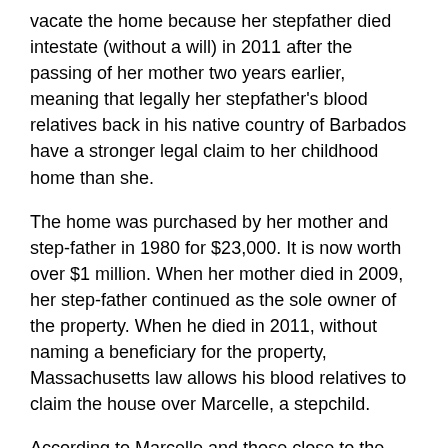vacate the home because her stepfather died intestate (without a will) in 2011 after the passing of her mother two years earlier, meaning that legally her stepfather's blood relatives back in his native country of Barbados have a stronger legal claim to her childhood home than she.
The home was purchased by her mother and step-father in 1980 for $23,000. It is now worth over $1 million. When her mother died in 2009, her step-father continued as the sole owner of the property. When he died in 2011, without naming a beneficiary for the property, Massachusetts law allows his blood relatives to claim the house over Marcelle, a stepchild.
According to Marcelle and those close to the family, her stepfather, Noel Aimes, always wanted the house to stay in the family, and in the 1990s he built additions to accommodate his growing family.